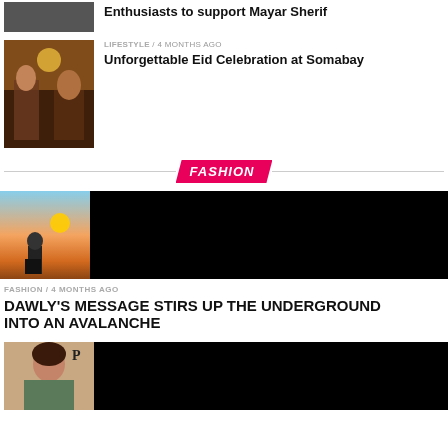[Figure (photo): Thumbnail image (top article, partially cut off at top)]
Enthusiasts to support Mayar Sherif
[Figure (photo): Lifestyle thumbnail showing people at a festive outdoor event]
LIFESTYLE / 4 months ago
Unforgettable Eid Celebration at Somabay
FASHION
[Figure (photo): Large banner image for fashion article: left side shows silhouette at sunset, right side is black]
FASHION / 4 months ago
DAWLY'S MESSAGE STIRS UP THE UNDERGROUND INTO AN AVALANCHE
[Figure (photo): Bottom thumbnail: woman at event on left, black panel on right]